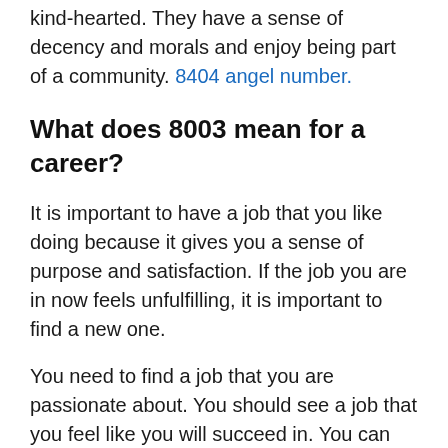kind-hearted. They have a sense of decency and morals and enjoy being part of a community. 8404 angel number.
What does 8003 mean for a career?
It is important to have a job that you like doing because it gives you a sense of purpose and satisfaction. If the job you are in now feels unfulfilling, it is important to find a new one.
You need to find a job that you are passionate about. You should see a job that you feel like you will succeed in. You can achieve great things if you believe in yourself. This is why it's so